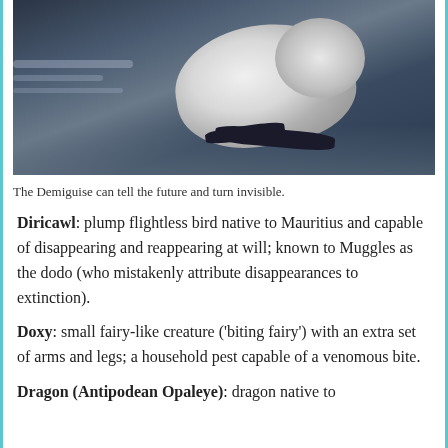[Figure (photo): A Demiguise creature with white/grey fluffy fur running or leaping across a dark floor in what appears to be a dimly lit indoor setting.]
The Demiguise can tell the future and turn invisible.
Diricawl: plump flightless bird native to Mauritius and capable of disappearing and reappearing at will; known to Muggles as the dodo (who mistakenly attribute disappearances to extinction).
Doxy: small fairy-like creature ('biting fairy') with an extra set of arms and legs; a household pest capable of a venomous bite.
Dragon (Antipodean Opaleye): dragon native to